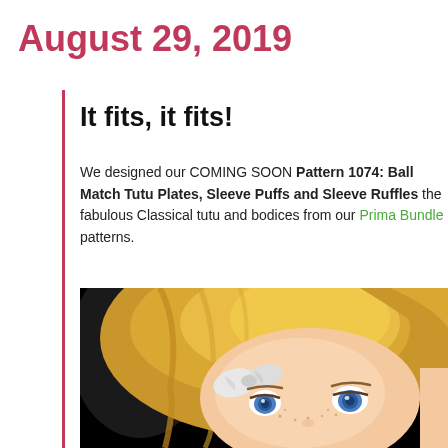August 29, 2019
It fits, it fits!
We designed our COMING SOON Pattern 1074: Ball Match Tutu Plates, Sleeve Puffs and Sleeve Ruffles the fabulous Classical tutu and bodices from our Prima Bundle patterns.
[Figure (photo): Close-up photo of a blonde doll with blue eyes, freckles, and a white bow hair accessory, against a black background]